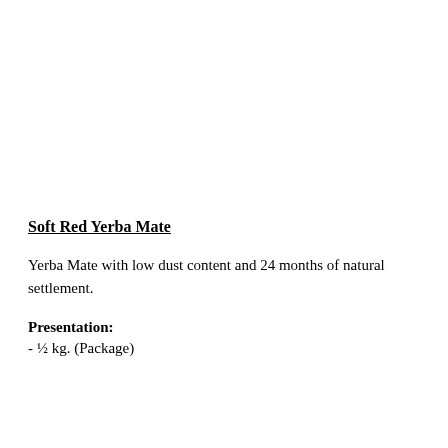Soft Red Yerba Mate
Yerba Mate with low dust content and 24 months of natural settlement.
Presentation:
- ½ kg. (Package)